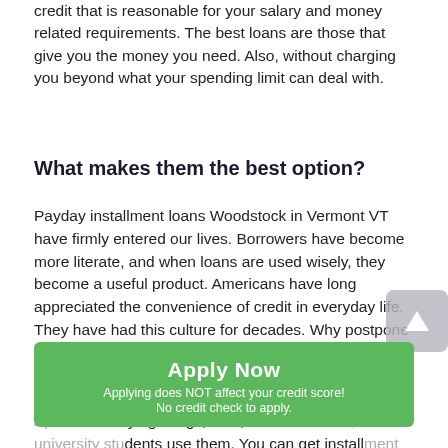credit that is reasonable for your salary and money related requirements. The best loans are those that give you the money you need. Also, without charging you beyond what your spending limit can deal with.
What makes them the best option?
Payday installment loans Woodstock in Vermont VT have firmly entered our lives. Borrowers have become more literate, and when loans are used wisely, they become a useful product. Americans have long appreciated the convenience of credit in everyday life. They have had this culture for decades. Why postpone the purchase of any goods, save money on them when you can use everything today and pay for it later.

Apart from buying things, cars, and real estate, even university students use them. You can get installment loans bad credit. Most students study on credit, and the loan is
[Figure (screenshot): Green 'Apply Now' button overlay with white text, and subtext: 'Applying does NOT affect your credit score! No credit check to apply.']